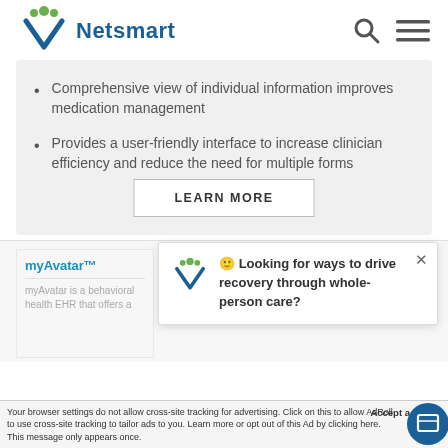[Figure (logo): Netsmart logo with green and blue icon and blue Netsmart wordmark, plus search and hamburger menu icons on right]
Comprehensive view of individual information improves medication management
Provides a user-friendly interface to increase clinician efficiency and reduce the need for multiple forms
LEARN MORE
myAvatar™
myAvatar is a behavioral health EHR that offers a
🙂 Looking for ways to drive recovery through whole-person care?
Accept a
Your browser settings do not allow cross-site tracking for advertising. Click on this to allow AdRoll to use cross-site tracking to tailor ads to you. Learn more or opt out of this Ad by clicking here. This message only appears once.